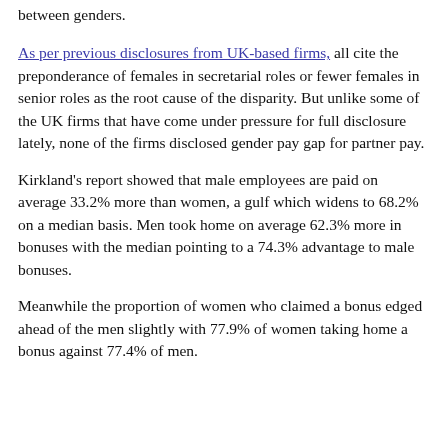between genders.
As per previous disclosures from UK-based firms, all cite the preponderance of females in secretarial roles or fewer females in senior roles as the root cause of the disparity. But unlike some of the UK firms that have come under pressure for full disclosure lately, none of the firms disclosed gender pay gap for partner pay.
Kirkland's report showed that male employees are paid on average 33.2% more than women, a gulf which widens to 68.2% on a median basis. Men took home on average 62.3% more in bonuses with the median pointing to a 74.3% advantage to male bonuses.
Meanwhile the proportion of women who claimed a bonus edged ahead of the men slightly with 77.9% of women taking home a bonus against 77.4% of men.